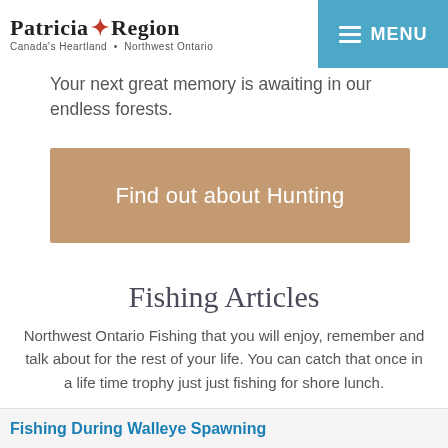Patricia Region — Canada's Heartland • Northwest Ontario
Your next great memory is awaiting in our endless forests.
Find out about Hunting
Fishing Articles
Northwest Ontario Fishing that you will enjoy, remember and talk about for the rest of your life. You can catch that once in a life time trophy just just fishing for shore lunch.
Fishing During Walleye Spawning